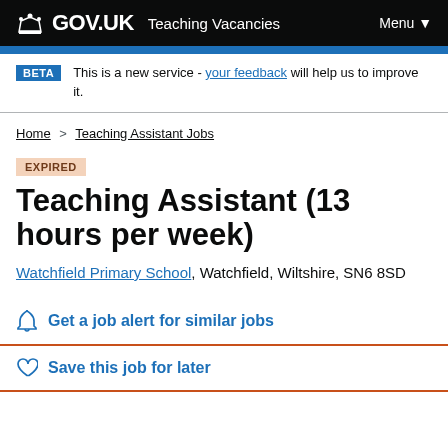GOV.UK Teaching Vacancies Menu
BETA This is a new service - your feedback will help us to improve it.
Home > Teaching Assistant Jobs
EXPIRED
Teaching Assistant (13 hours per week)
Watchfield Primary School, Watchfield, Wiltshire, SN6 8SD
Get a job alert for similar jobs
Save this job for later